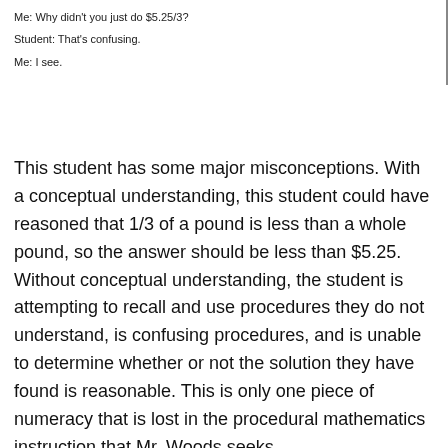Me: Why didn't you just do $5.25/3?
Student: That's confusing.
Me: I see.
This student has some major misconceptions.  With a conceptual understanding, this student could have reasoned that 1/3 of a pound is less than a whole pound, so the answer should be less than $5.25.  Without conceptual understanding, the student is attempting to recall and use procedures they do not understand, is confusing procedures, and is unable to determine whether or not the solution they have found is reasonable.  This is only one piece of numeracy that is lost in the procedural mathematics instruction that Mr. Woods seeks.
Fact fluency and the standard procedures for the four basic operations is next.  I don't think there is a math